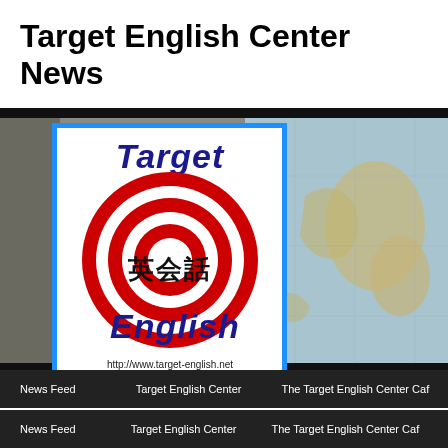Target English Center News
[Figure (photo): Classroom scene with a Target English Center logo/sign displayed prominently. The logo features a red bullseye target circle with Japanese characters (英会話) in the center, the words 'Target English' in dark blue italic text, and the website URL http://www.target-english.net at the bottom. Behind the sign is a world map on the wall and what appears to be an office/classroom setting.]
News Feed   Target English Center   The Target English Center Caf